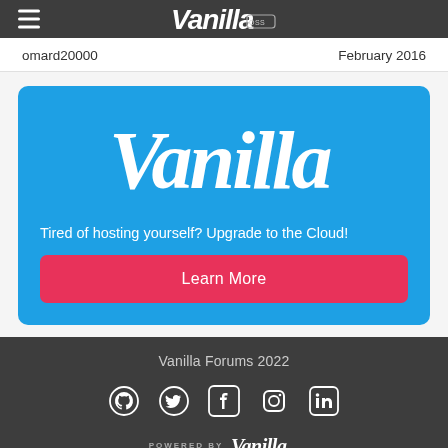Vanilla Forums (header bar with logo and hamburger menu)
omard20000    February 2016
[Figure (infographic): Blue promotional card for Vanilla Forums cloud hosting. Large Vanilla logo in white cursive script at top, tagline 'Tired of hosting yourself? Upgrade to the Cloud!' in white text, and a pink/red 'Learn More' call-to-action button below.]
Vanilla Forums 2022 — social icons (GitHub, Twitter, Facebook, Instagram, LinkedIn) — Powered by Vanilla